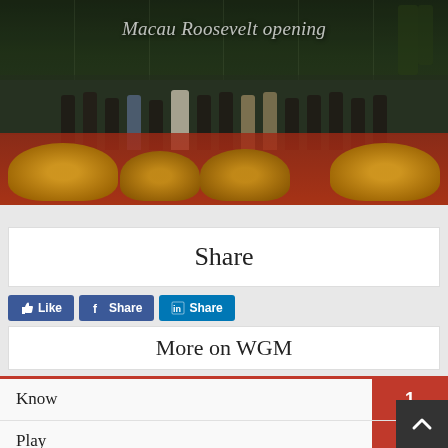[Figure (photo): Group photo at Macau Roosevelt opening ceremony with people standing in front of a glass building, red carpet with golden lion dance decorations in the foreground. Text overlay reads 'Macau Roosevelt opening'.]
Share
[Figure (infographic): Row of social sharing buttons: blue Facebook Like button, blue Facebook Share button, blue LinkedIn Share button]
More on WGM
Know 1
Play 30
Enjoy